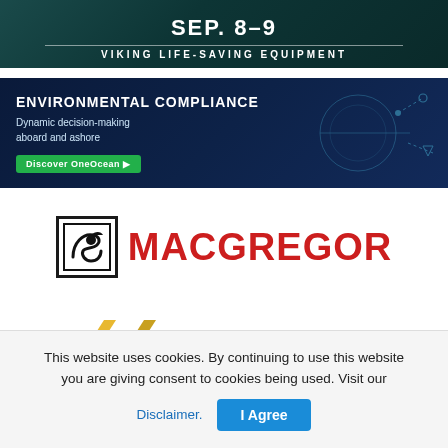[Figure (illustration): Viking Life-Saving Equipment banner with dark teal background showing date SEP. 8-9 and company name VIKING LIFE-SAVING EQUIPMENT]
[Figure (illustration): OneOcean Environmental Compliance banner with dark navy background, text 'ENVIRONMENTAL COMPLIANCE', 'Dynamic decision-making aboard and ashore', green 'Discover OneOcean' button, and decorative navigation diagram on right]
[Figure (logo): MacGregor logo: black square icon with stylized seagull/hook graphic on left, large red bold text MACGREGOR on right]
[Figure (logo): LATSCO logo: yellow/gold geometric arrow/chevron shapes on left, dark gray bold text LATSCO on right]
This website uses cookies. By continuing to use this website you are giving consent to cookies being used. Visit our Disclaimer. I Agree